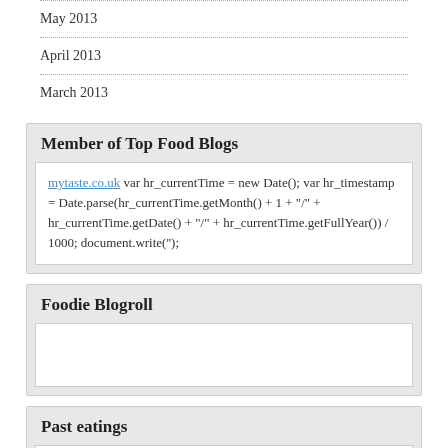May 2013
April 2013
March 2013
Member of Top Food Blogs
mytaste.co.uk var hr_currentTime = new Date(); var hr_timestamp = Date.parse(hr_currentTime.getMonth() + 1 + "/" + hr_currentTime.getDate() + "/" + hr_currentTime.getFullYear()) / 1000; document.write('');
Foodie Blogroll
Past eatings